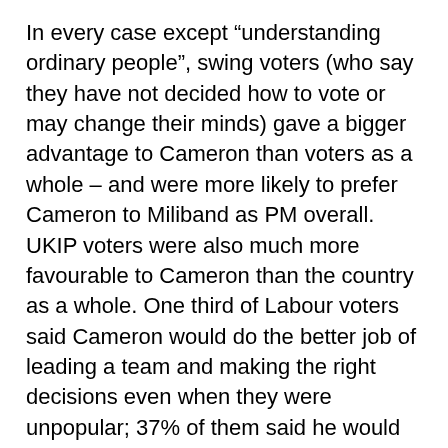In every case except “understanding ordinary people”, swing voters (who say they have not decided how to vote or may change their minds) gave a bigger advantage to Cameron than voters as a whole – and were more likely to prefer Cameron to Miliband as PM overall. UKIP voters were also much more favourable to Cameron than the country as a whole. One third of Labour voters said Cameron would do the better job of leading a team and making the right decisions even when they were unpopular; 37% of them said he would do the better job of representing Britain abroad.
**********
The qualities of the two leaders were a critical factor for many of last week’s undecided focus group participants, in Ramsgate and Bury. It has long been clear that the result in May will largely hang on how people resolve their dilemma when they prefer Labour to the Tories, but Cameron to Miliband. Several people in our groups, including some who voted Labour in 2010, said the Labour leader was the single biggest barrier to their